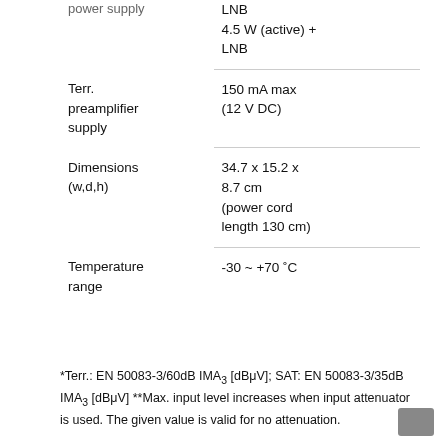| Parameter | Value |
| --- | --- |
| power supply | LNB
4.5 W (active) + LNB |
| Terr. preamplifier supply | 150 mA max (12 V DC) |
| Dimensions (w,d,h) | 34.7 x 15.2 x 8.7 cm (power cord length 130 cm) |
| Temperature range | -30 ~ +70 °C |
*Terr.: EN 50083-3/60dB IMA3 [dBμV]; SAT: EN 50083-3/35dB IMA3 [dBμV] **Max. input level increases when input attenuator is used. The given value is valid for no attenuation.